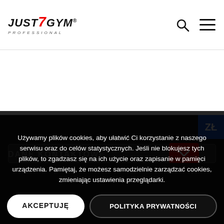[Figure (logo): JUST7GYM PROFESSIONAL logo with red 7]
[Figure (screenshot): Website screenshot with dark footer section, search bar, DANE KONTAKTOWE header, and cookie consent overlay with two buttons: AKCEPTUJĘ and POLITYKA PRYWATNOŚCI]
Używamy plików cookies, aby ułatwić Ci korzystanie z naszego serwisu oraz do celów statystycznych. Jeśli nie blokujesz tych plików, to zgadzasz się na ich użycie oraz zapisanie w pamięci urządzenia. Pamiętaj, że możesz samodzielnie zarządzać cookies, zmieniając ustawienia przeglądarki.
AKCEPTUJĘ
POLITYKA PRYWATNOŚCI